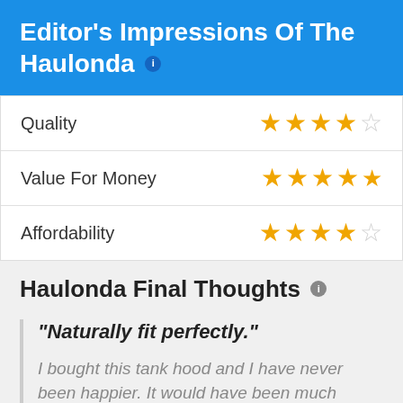Editor's Impressions Of The Haulonda
| Category | Rating |
| --- | --- |
| Quality | 3.5/5 stars |
| Value For Money | 4.5/5 stars |
| Affordability | 3.5/5 stars |
Haulonda Final Thoughts
"Naturally fit perfectly."
I bought this tank hood and I have never been happier. It would have been much easier to trim it prior to ... I AM NOT HAPPY WITH